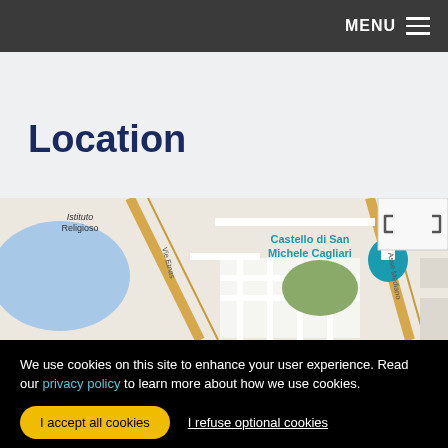MENU
Location
[Figure (map): Google Maps view showing Castello di San Michele Cagliari with a teal location pin, surrounding streets including Vie Etnas, Asse Mediano, and nearby areas including Istituto Religioso and Pirri.]
We use cookies on this site to enhance your user experience. Read our privacy policy to learn more about how we use cookies.
I accept all cookies
I refuse optional cookies